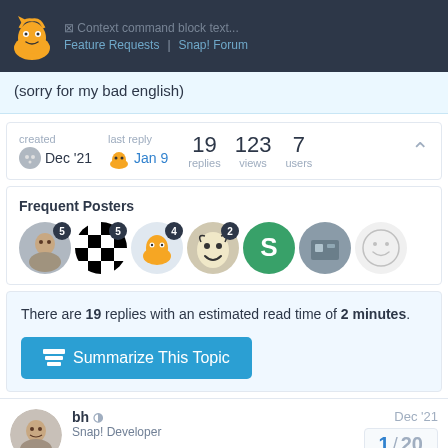Context command block text... Feature Requests | Snap! Forum
(sorry for my bad english)
| created | last reply | replies | views | users |
| --- | --- | --- | --- | --- |
| Dec '21 | Jan 9 | 19 | 123 | 7 |
Frequent Posters
[Figure (illustration): Row of 7 user avatars with post count badges showing 5, 5, 4, 2, and three without badges]
There are 19 replies with an estimated read time of 2 minutes.
Summarize This Topic
bh Snap! Developer Dec '21 1 / 20